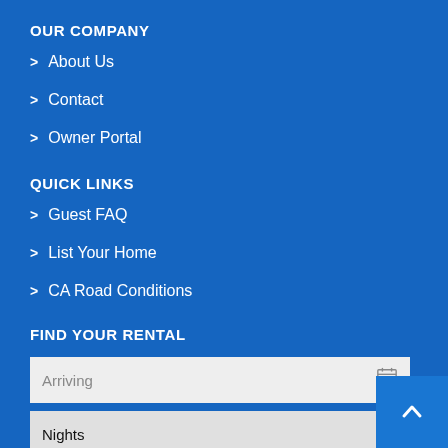OUR COMPANY
About Us
Contact
Owner Portal
QUICK LINKS
Guest FAQ
List Your Home
CA Road Conditions
FIND YOUR RENTAL
Arriving (date input with calendar icon)
Nights (dropdown select)